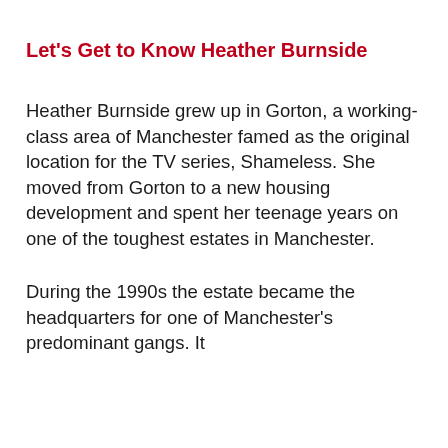Let's Get to Know Heather Burnside
Heather Burnside grew up in Gorton, a working-class area of Manchester famed as the original location for the TV series, Shameless. She moved from Gorton to a new housing development and spent her teenage years on one of the toughest estates in Manchester.
During the 1990s the estate became the headquarters for one of Manchester's predominant gangs. It